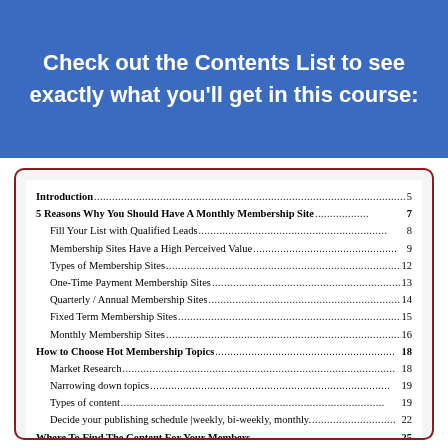Check out the Contents List to see exactly what you'll get in this course:
| Entry | Page |
| --- | --- |
| Introduction | 5 |
| 5 Reasons Why You Should Have A Monthly Membership Site | 7 |
| Fill Your List with Qualified Leads | 8 |
| Membership Sites Have a High Perceived Value | 9 |
| Types of Membership Sites | 12 |
| One-Time Payment Membership Sites | 13 |
| Quarterly / Annual Membership Sites | 14 |
| Fixed Term Membership Sites | 15 |
| Monthly Membership Sites | 16 |
| How to Choose Hot Membership Topics | 18 |
| Market Research | 18 |
| Narrowing down topics | 19 |
| Types of content | 19 |
| Decide your publishing schedule |weekly, bi-weekly, monthly. | 22 |
| Where To Find The Content For Your Members | 25 |
| Outsource to freelancers | 25 |
| Benefits | 26 |
| Purchase rights to existing content | 27 |